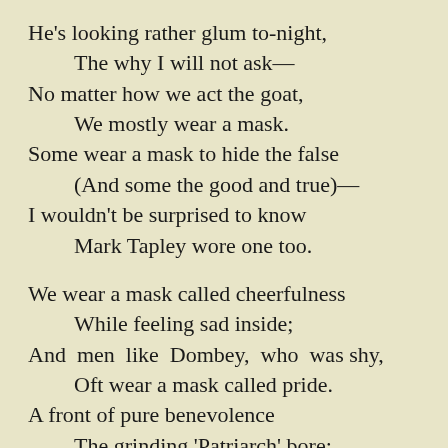He's looking rather glum to-night,
    The why I will not ask—
No matter how we act the goat,
    We mostly wear a mask.
Some wear a mask to hide the false
    (And some the good and true)—
I wouldn't be surprised to know
    Mark Tapley wore one too.

We wear a mask called cheerfulness
    While feeling sad inside;
And men like Dombey, who was shy,
    Oft wear a mask called pride.
A front of pure benevolence
    The grinding 'Patriarch' bore;
And kind men often wear a mask
    Like that which Jaggers wore.